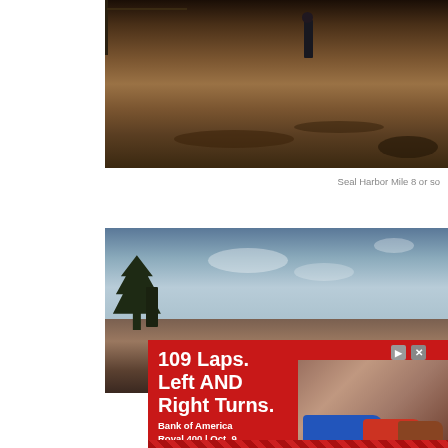[Figure (photo): Outdoor dirt/mud scene with a person standing in the distance. Trees and fence post visible. Earthy brown tones.]
Seal Harbor Mile 8 or so
[Figure (photo): Outdoor landscape scene with large trees silhouetted against a blue sky with clouds. Lower portion shows a race track area.]
[Figure (other): Advertisement for Bank of America Roval 400 | Oct. 9. Text reads: 109 Laps. Left AND Right Turns. PLAN YOUR TRIP button shown. NASCAR race cars visible.]